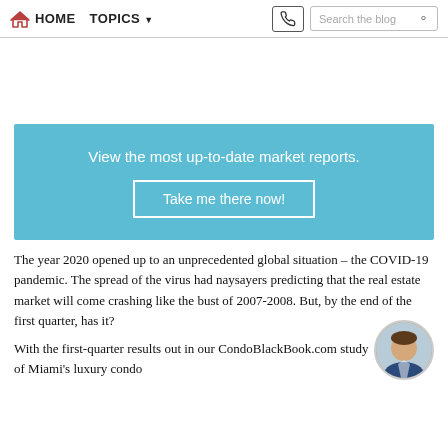HOME  TOPICS  Search the blog
[Figure (infographic): Teal CTA banner with text 'View the most up-to-date market reports.' and button 'Take me there now!']
The year 2020 opened up to an unprecedented global situation – the COVID-19 pandemic. The spread of the virus had naysayers predicting that the real estate market will come crashing like the bust of 2007-2008. But, by the end of the first quarter, has it?
With the first-quarter results out in our CondoBlackBook.com study of Miami's luxury condo